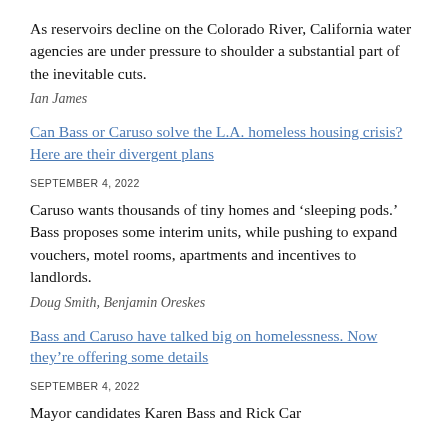As reservoirs decline on the Colorado River, California water agencies are under pressure to shoulder a substantial part of the inevitable cuts.
Ian James
Can Bass or Caruso solve the L.A. homeless housing crisis? Here are their divergent plans
SEPTEMBER 4, 2022
Caruso wants thousands of tiny homes and ‘sleeping pods.’ Bass proposes some interim units, while pushing to expand vouchers, motel rooms, apartments and incentives to landlords.
Doug Smith, Benjamin Oreskes
Bass and Caruso have talked big on homelessness. Now they’re offering some details
SEPTEMBER 4, 2022
Mayor candidates Karen Bass and Rick Car...